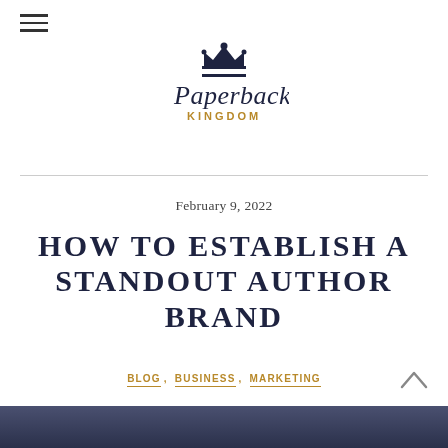[Figure (logo): Paperback Kingdom logo with crown icon and handwritten/serif text]
February 9, 2022
HOW TO ESTABLISH A STANDOUT AUTHOR BRAND
BLOG, BUSINESS, MARKETING
[Figure (photo): Dark blurred photo strip at bottom of page]